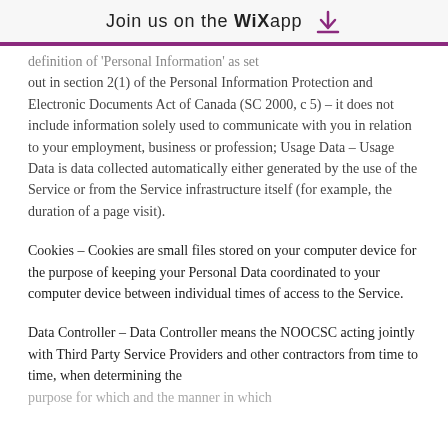Join us on the WiX app
definition of 'Personal Information' as set out in section 2(1) of the Personal Information Protection and Electronic Documents Act of Canada (SC 2000, c 5) – it does not include information solely used to communicate with you in relation to your employment, business or profession; Usage Data – Usage Data is data collected automatically either generated by the use of the Service or from the Service infrastructure itself (for example, the duration of a page visit).
Cookies – Cookies are small files stored on your computer device for the purpose of keeping your Personal Data coordinated to your computer device between individual times of access to the Service.
Data Controller – Data Controller means the NOOCSC acting jointly with Third Party Service Providers and other contractors from time to time, when determining the purpose for which and the manner in which